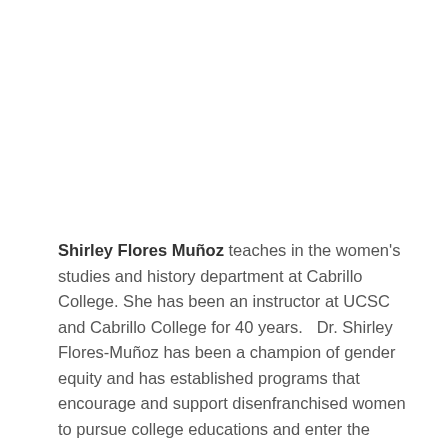Shirley Flores Muñoz teaches in the women's studies and history department at Cabrillo College. She has been an instructor at UCSC and Cabrillo College for 40 years.   Dr. Shirley Flores-Muñoz has been a champion of gender equity and has established programs that encourage and support disenfranchised women to pursue college educations and enter the workforce including bringing Cabrillo College classes to Watsonville.
Born and raised in Watsonville, Flores-Muñoz received